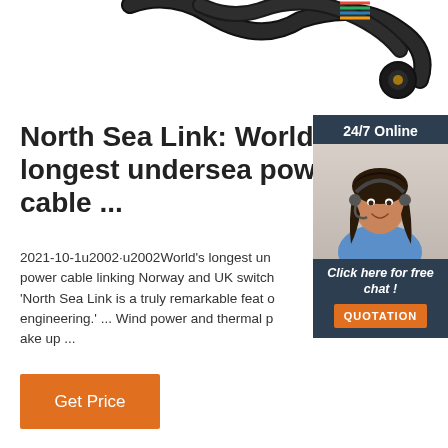[Figure (photo): Undersea power cable coiled with connector end visible, against white background]
North Sea Link: World's longest undersea power cable ...
2021-10-1u2002·u2002World's longest undersea power cable linking Norway and UK switched on. 'North Sea Link is a truly remarkable feat of engineering.' ... Wind power and thermal p ake up ...
[Figure (photo): 24/7 Online chat widget with a smiling female customer service representative wearing a headset, with 'Click here for free chat!' text and an orange QUOTATION button]
Get Price